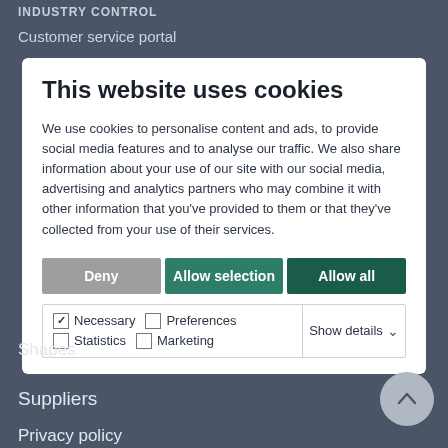Customer service portal
This website uses cookies
We use cookies to personalise content and ads, to provide social media features and to analyse our traffic. We also share information about your use of our site with our social media, advertising and analytics partners who may combine it with other information that you've provided to them or that they've collected from your use of their services.
Deny | Allow selection | Allow all
Necessary  Preferences  Statistics  Marketing  Show details
Shapes
Suppliers
Privacy policy